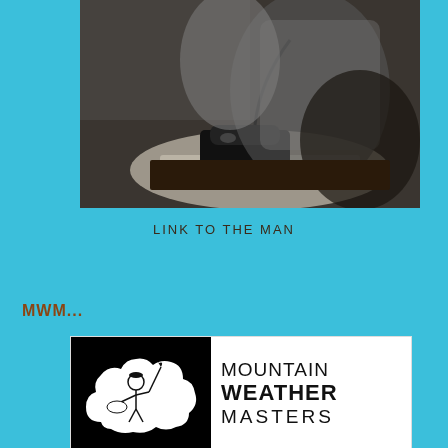[Figure (photo): Black and white vintage photograph of a woman in a ribbed dress with a rotary telephone on a lace doily on a table]
LINK TO THE MAN
MWM...
[Figure (logo): Mountain Weather Masters logo: black square background with white cloud shape containing a figure writing with a quill pen, next to bold text reading MOUNTAIN WEATHER MASTERS]